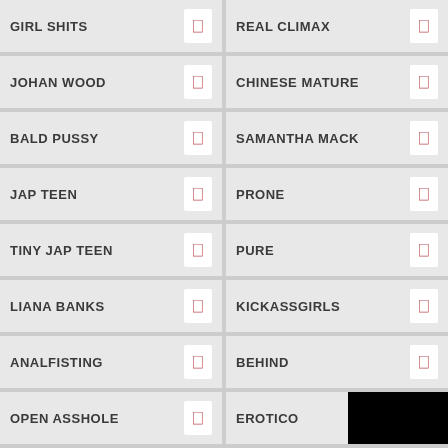GIRL SHITS
REAL CLIMAX
JOHAN WOOD
CHINESE MATURE
BALD PUSSY
SAMANTHA MACK
JAP TEEN
PRONE
TINY JAP TEEN
PURE
LIANA BANKS
KICKASSGIRLS
ANALFISTING
BEHIND
OPEN ASSHOLE
EROTICO
2D COMI
TELLS